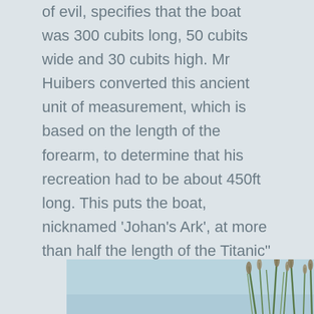of evil, specifies that the boat was 300 cubits long, 50 cubits wide and 30 cubits high. Mr Huibers converted this ancient unit of measurement, which is based on the length of the forearm, to determine that his recreation had to be about 450ft long. This puts the boat, nicknamed ‘Johan’s Ark’, at more than half the length of the Titanic”
[Figure (photo): Bottom portion of a photo showing reeds or tall grass against a light blue sky and water background]